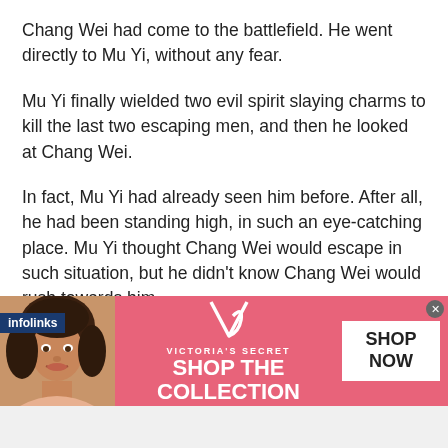Chang Wei had come to the battlefield. He went directly to Mu Yi, without any fear.
Mu Yi finally wielded two evil spirit slaying charms to kill the last two escaping men, and then he looked at Chang Wei.
In fact, Mu Yi had already seen him before. After all, he had been standing high, in such an eye-catching place. Mu Yi thought Chang Wei would escape in such situation, but he didn't know Chang Wei would rush towards him.
[Figure (infographic): Victoria's Secret advertisement banner with pink background, model photo on left, VS logo in center, 'SHOP THE COLLECTION' text, and 'SHOP NOW' button on right. Infolinks label above the banner.]